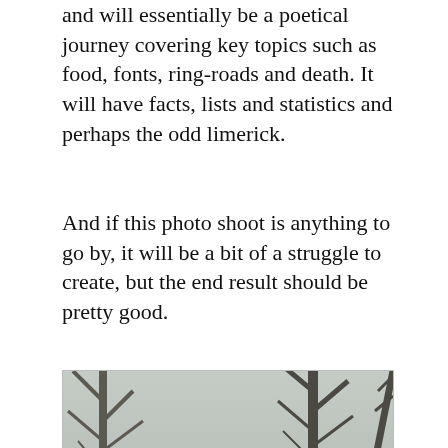and will essentially be a poetical journey covering key topics such as food, fonts, ring-roads and death. It will have facts, lists and statistics and perhaps the odd limerick.
And if this photo shoot is anything to go by, it will be a bit of a struggle to create, but the end result should be pretty good.
[Figure (photo): Two men outdoors in overcast/rainy weather. Foreground: a man wearing a black hooded jacket, hood up, looking at camera with serious expression. Background: another man in a grey suit holding a black umbrella, with bare trees visible behind them.]